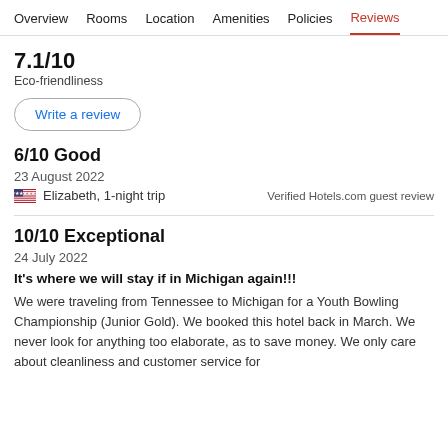Overview  Rooms  Location  Amenities  Policies  Reviews
7.1/10
Eco-friendliness
Write a review
6/10 Good
23 August 2022
Elizabeth, 1-night trip
Verified Hotels.com guest review
10/10 Exceptional
24 July 2022
It's where we will stay if in Michigan again!!!
We were traveling from Tennessee to Michigan for a Youth Bowling Championship (Junior Gold). We booked this hotel back in March. We never look for anything too elaborate, as to save money. We only care about cleanliness and customer service for